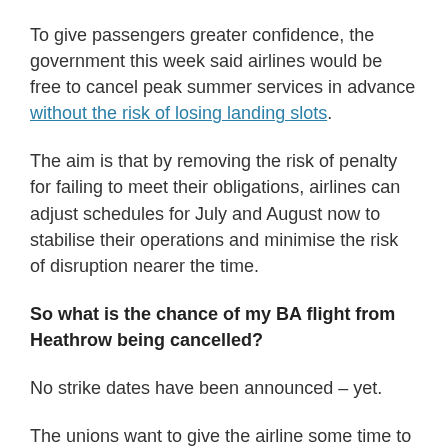To give passengers greater confidence, the government this week said airlines would be free to cancel peak summer services in advance without the risk of losing landing slots.
The aim is that by removing the risk of penalty for failing to meet their obligations, airlines can adjust schedules for July and August now to stabilise their operations and minimise the risk of disruption nearer the time.
So what is the chance of my BA flight from Heathrow being cancelled?
No strike dates have been announced – yet.
The unions want to give the airline some time to improve